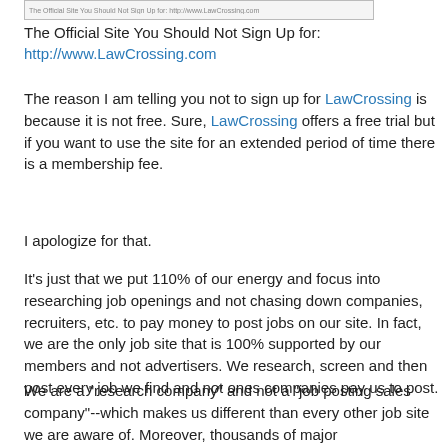[Figure (screenshot): Small browser address bar or header image strip at top of page]
The Official Site You Should Not Sign Up for:
http://www.LawCrossing.com
The reason I am telling you not to sign up for LawCrossing is because it is not free. Sure, LawCrossing offers a free trial but if you want to use the site for an extended period of time there is a membership fee.
I apologize for that.
It's just that we put 110% of our energy and focus into researching job openings and not chasing down companies, recruiters, etc. to pay money to post jobs on our site. In fact, we are the only job site that is 100% supported by our members and not advertisers. We research, screen and then post every job we find and not ones companies pay us to post.
We are a "research company" and not a "job posting sales company"--which makes us different than every other job site we are aware of. Moreover, thousands of major